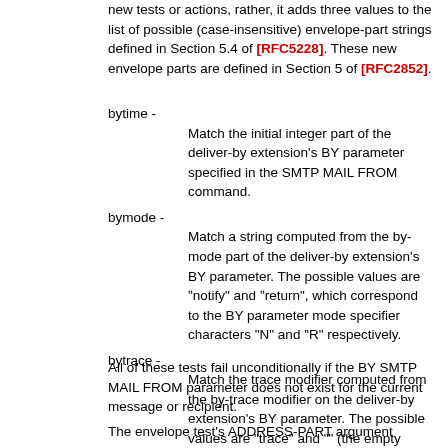new tests or actions, rather, it adds three values to the list of possible (case-insensitive) envelope-part strings defined in Section 5.4 of [RFC5228]. These new envelope parts are defined in Section 5 of [RFC2852].
bytime - Match the initial integer part of the deliver-by extension's BY parameter specified in the SMTP MAIL FROM command.
bymode - Match a string computed from the by-mode part of the deliver-by extension's BY parameter. The possible values are "notify" and "return", which correspond to the BY parameter mode specifier characters "N" and "R" respectively.
bytrace - Match the trace modifier computed from the by-trace modifier on the deliver-by extension's BY parameter. The possible values are "trace" and "" (the empty string). These values correspond to the presence or absence of the by-trace "T" modifier respectively.
All of these tests fail unconditionally if the BY SMTP MAIL FROM parameter does not exist for the current message or recipient.
The envelope test's ADDRESS-PART argument